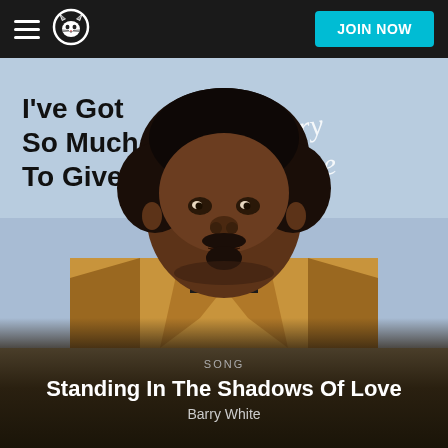JOIN NOW
[Figure (photo): Barry White album cover for 'I've Got So Much To Give' — portrait photo of Barry White wearing a tan leather jacket against a light blue background, with album title text on the left and 'Barry White' in cursive script on the right]
SONG
Standing In The Shadows Of Love
Barry White